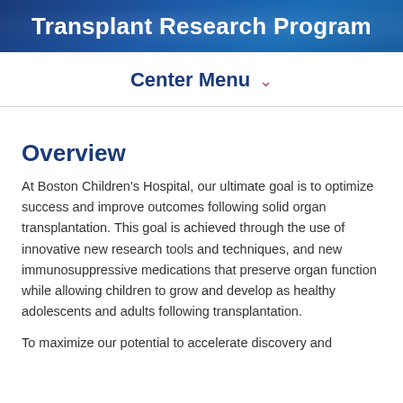Transplant Research Program
Center Menu
Overview
At Boston Children's Hospital, our ultimate goal is to optimize success and improve outcomes following solid organ transplantation. This goal is achieved through the use of innovative new research tools and techniques, and new immunosuppressive medications that preserve organ function while allowing children to grow and develop as healthy adolescents and adults following transplantation.
To maximize our potential to accelerate discovery and